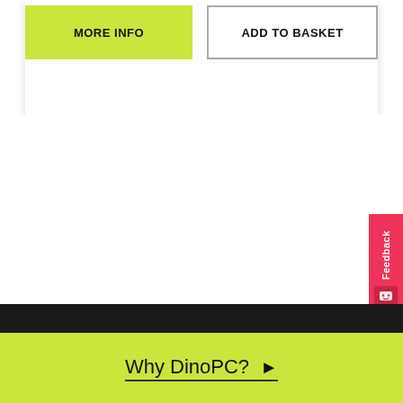[Figure (screenshot): Two buttons side by side: 'MORE INFO' on lime green background and 'ADD TO BASKET' on white with border]
[Figure (other): Red vertical feedback tab on right side with 'Feedback' text rotated and a small icon]
[Figure (other): Black horizontal band section]
Why DinoPC? ▶